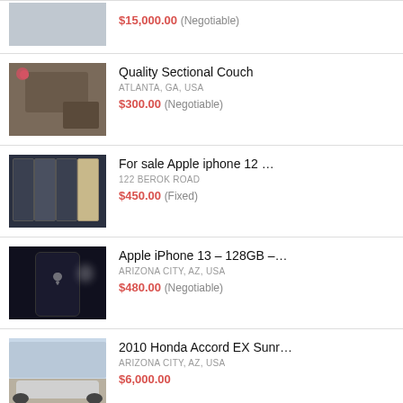$15,000.00 (Negotiable)
Quality Sectional Couch — ATLANTA, GA, USA — $300.00 (Negotiable)
For sale Apple iphone 12 … — 122 BEROK ROAD — $450.00 (Fixed)
Apple iPhone 13 – 128GB –… — ARIZONA CITY, AZ, USA — $480.00 (Negotiable)
2010 Honda Accord EX Sunr… — ARIZONA CITY, AZ, USA — $6,000.00